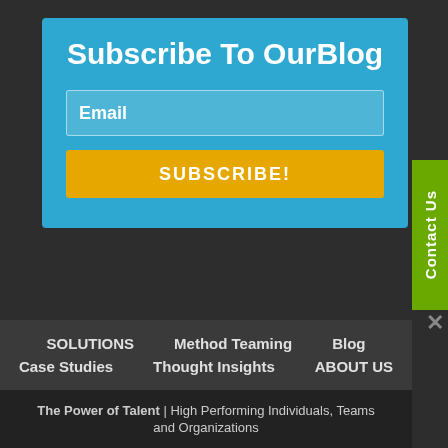Subscribe To OurBlog
Email
SUBSCRIBE!
Contact Us
SOLUTIONS   Method Teaming   Blog   Case Studies   Thought Insights   ABOUT US
The Power of Talent | High Performing Individuals, Teams and Organizations